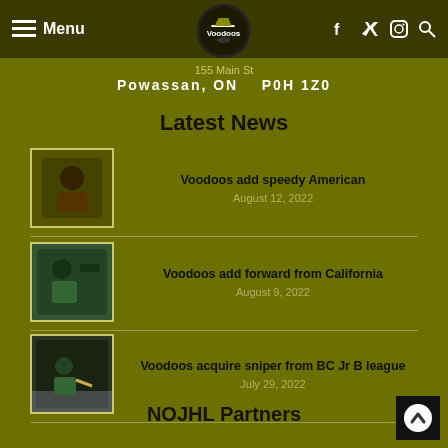Menu | Powassan Voodoos Logo | Facebook Twitter Instagram Search
155 Main St
Powassan, ON    P0H 1Z0
Latest News
Voodoos add speedy American
August 12, 2022
Voodoos add forward from California
August 9, 2022
Voodoos acquire sniper from BC Jr B league
July 29, 2022
NOJHL Partners